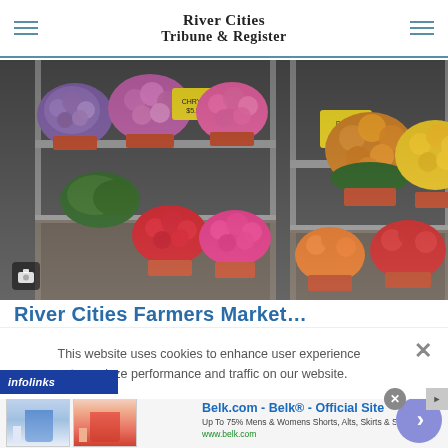River Cities Tribune & Register
[Figure (photo): Shelves of potted chrysanthemum flowers in purple, pink, red, and yellow/orange colors at what appears to be a garden center or farmers market, with yellow price tags visible on the shelves]
This website uses cookies to enhance user experience to analyze performance and traffic on our website.
[Figure (infographic): Infolinks advertisement banner showing Belk.com - Belk Official Site ad with women's clothing images and text 'Up To 75% Mens & Womens Shorts, Alts, Skirts & Swim' and URL www.belk.com]